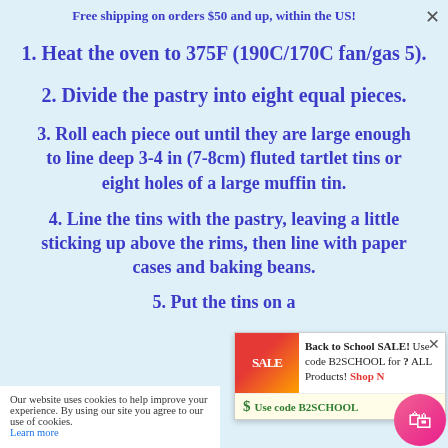Free shipping on orders $50 and up, within the US!
1. Heat the oven to 375F (190C/170C fan/gas 5).
2. Divide the pastry into eight equal pieces.
3. Roll each piece out until they are large enough to line deep 3-4 in (7-8cm) fluted tartlet tins or eight holes of a large muffin tin.
4. Line the tins with the pastry, leaving a little sticking up above the rims, then line with paper cases and baking beans.
5. Put the tins on a...
Our website uses cookies to help improve your experience. By using our site you agree to our use of cookies. Learn more
Back to School SALE! Use code B2SCHOOL for ? ALL Products! Shop Now Use code B2SCHOOL